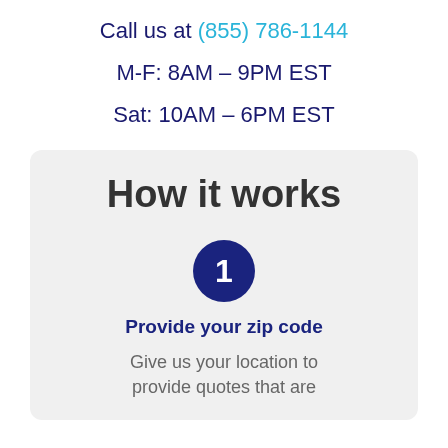Call us at (855) 786-1144
M-F: 8AM – 9PM EST
Sat: 10AM – 6PM EST
How it works
[Figure (illustration): Dark navy blue circle with white number 1 inside]
Provide your zip code
Give us your location to provide quotes that are